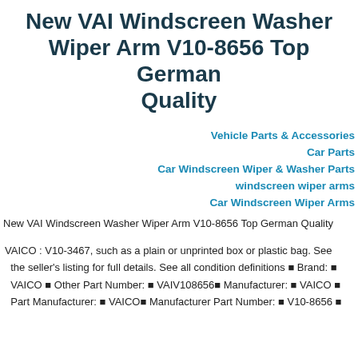New VAI Windscreen Washer Wiper Arm V10-8656 Top German Quality
Vehicle Parts & Accessories
Car Parts
Car Windscreen Wiper & Washer Parts
windscreen wiper arms
Car Windscreen Wiper Arms
New VAI Windscreen Washer Wiper Arm V10-8656 Top German Quality
VAICO : V10-3467, such as a plain or unprinted box or plastic bag. See the seller's listing for full details. See all condition definitions ■ Brand: ■ VAICO ■ Other Part Number: ■ VAIV108656■ Manufacturer: ■ VAICO ■ Part Manufacturer: ■ VAICO■ Manufacturer Part Number: ■ V10-8656 ■